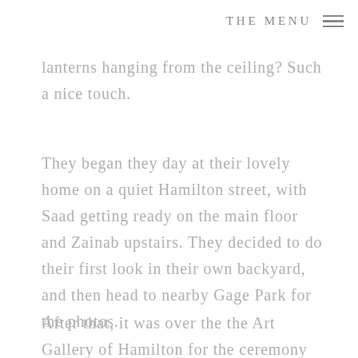THE MENU
lanterns hanging from the ceiling? Such a nice touch.
They began they day at their lovely home on a quiet Hamilton street, with Saad getting ready on the main floor and Zainab upstairs. They decided to do their first look in their own backyard, and then head to nearby Gage Park for the photos.
After that, it was over the the Art Gallery of Hamilton for the ceremony